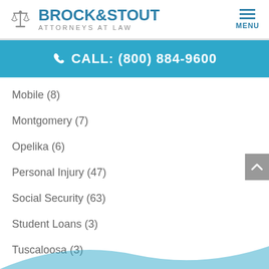[Figure (logo): Brock & Stout Attorneys at Law logo with scales of justice icon]
CALL: (800) 884-9600
Mobile (8)
Montgomery (7)
Opelika (6)
Personal Injury (47)
Social Security (63)
Student Loans (3)
Tuscaloosa (3)
Walter Blakeney (16)